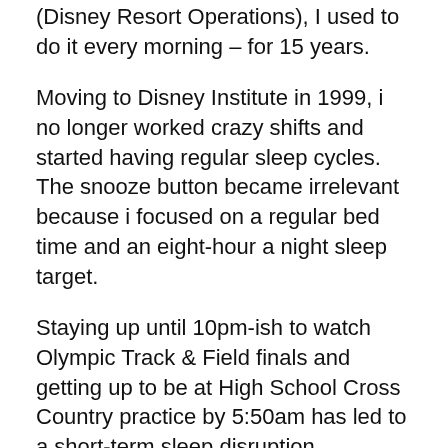(Disney Resort Operations), I used to do it every morning – for 15 years.
Moving to Disney Institute in 1999, i no longer worked crazy shifts and started having regular sleep cycles. The snooze button became irrelevant because i focused on a regular bed time and an eight-hour a night sleep target.
Staying up until 10pm-ish to watch Olympic Track & Field finals and getting up to be at High School Cross Country practice by 5:50am has led to a short-term sleep disruption.
And i am reminded that my incentive for doing